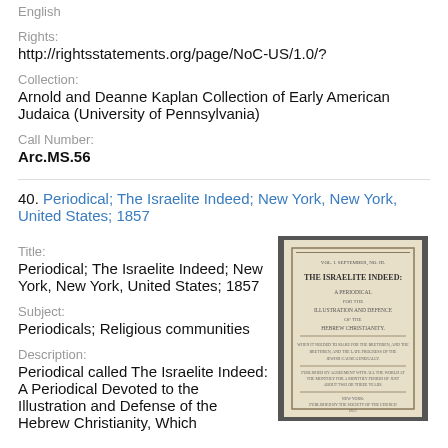English
Rights:
http://rightsstatements.org/page/NoC-US/1.0/?
Collection:
Arnold and Deanne Kaplan Collection of Early American Judaica (University of Pennsylvania)
Call Number:
Arc.MS.56
40. Periodical; The Israelite Indeed; New York, New York, United States; 1857
Title:
Periodical; The Israelite Indeed; New York, New York, United States; 1857
Subject:
Periodicals; Religious communities
Description:
Periodical called The Israelite Indeed: A Periodical Devoted to the Illustration and Defense of the Hebrew Christianity, Which
[Figure (photo): Photograph of the cover of 'The Israelite Indeed: A Periodical for the Illustration and Defense of Hebrew Christianity', a periodical from 1857, showing the title page with text.]